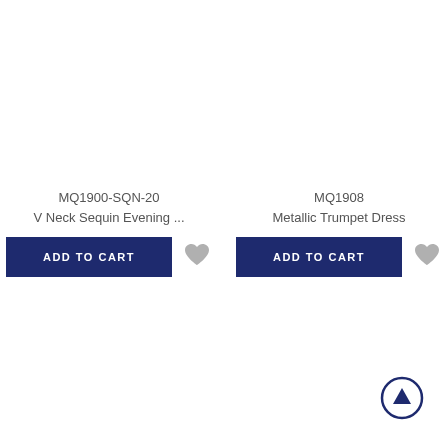MQ1900-SQN-20
V Neck Sequin Evening ...
ADD TO CART
MQ1908
Metallic Trumpet Dress
ADD TO CART
[Figure (illustration): Scroll to top button — dark navy circle with upward arrow icon, bottom-right corner]